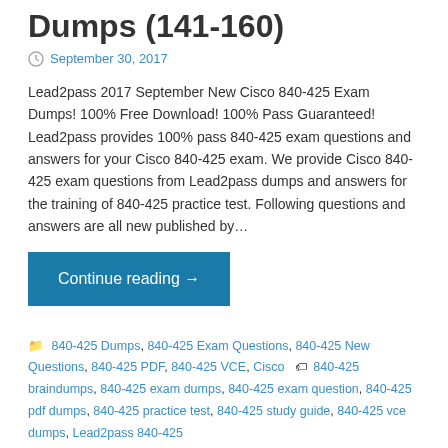Dumps (141-160)
September 30, 2017
Lead2pass 2017 September New Cisco 840-425 Exam Dumps! 100% Free Download! 100% Pass Guaranteed! Lead2pass provides 100% pass 840-425 exam questions and answers for your Cisco 840-425 exam. We provide Cisco 840-425 exam questions from Lead2pass dumps and answers for the training of 840-425 practice test. Following questions and answers are all new published by…
Continue reading →
840-425 Dumps, 840-425 Exam Questions, 840-425 New Questions, 840-425 PDF, 840-425 VCE, Cisco 840-425 braindumps, 840-425 exam dumps, 840-425 exam question, 840-425 pdf dumps, 840-425 practice test, 840-425 study guide, 840-425 vce dumps, Lead2pass 840-425